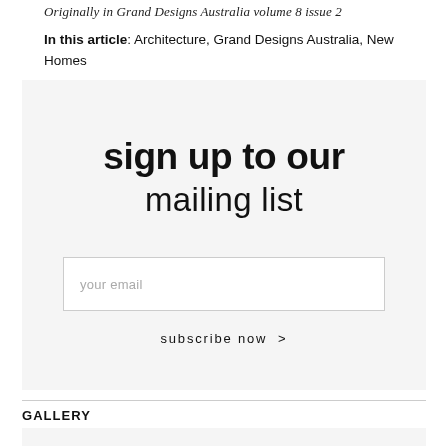Originally in Grand Designs Australia volume 8 issue 2
In this article: Architecture, Grand Designs Australia, New Homes
[Figure (other): Sign up to mailing list promotional box with email input field and subscribe now button]
GALLERY